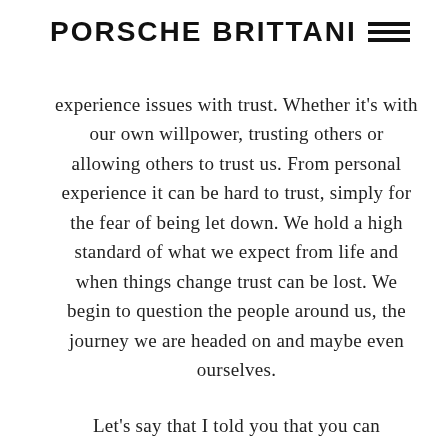PORSCHE BRITTANI
experience issues with trust. Whether it's with our own willpower, trusting others or allowing others to trust us. From personal experience it can be hard to trust, simply for the fear of being let down. We hold a high standard of what we expect from life and when things change trust can be lost. We begin to question the people around us, the journey we are headed on and maybe even ourselves.
Let's say that I told you that you can